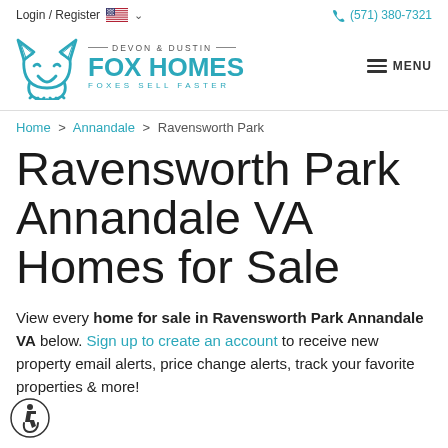Login / Register   (571) 380-7321
[Figure (logo): Fox Homes logo with teal fox icon and text: DEVON & DUSTIN FOX HOMES FOXES SELL FASTER, with hamburger MENU on right]
Home > Annandale > Ravensworth Park
Ravensworth Park Annandale VA Homes for Sale
View every home for sale in Ravensworth Park Annandale VA below. Sign up to create an account to receive new property email alerts, price change alerts, track your favorite properties & more!